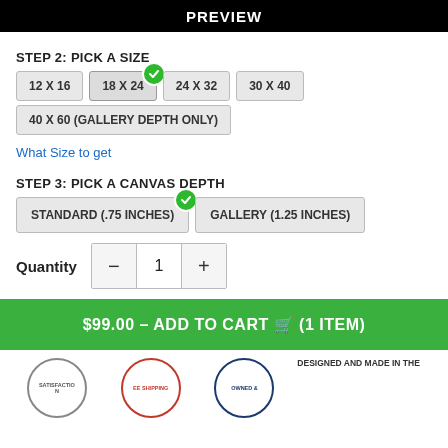PREVIEW
STEP 2: PICK A SIZE
12 X 16
18 X 24 (selected)
24 X 32
30 X 40
40 X 60 (GALLERY DEPTH ONLY)
What Size to get
STEP 3: PICK A CANVAS DEPTH
STANDARD (.75 INCHES) (selected)
GALLERY (1.25 INCHES)
Quantity: 1
$99.00 – ADD TO CART (1 ITEM)
[Figure (logo): Satisfaction guarantee badge]
[Figure (logo): Free Shipping badge]
[Figure (logo): Owned & operated badge]
DESIGNED AND MADE IN THE